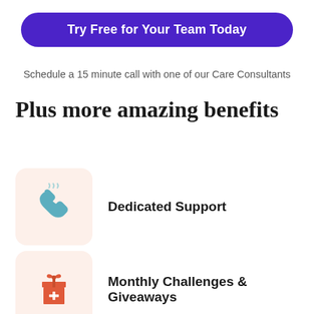Try Free for Your Team Today
Schedule a 15 minute call with one of our Care Consultants
Plus more amazing benefits
[Figure (illustration): Teal telephone handset icon with steam lines on a light peach rounded square background]
Dedicated Support
[Figure (illustration): Orange gift box with ribbon and a plus sign on a light peach rounded square background]
Monthly Challenges & Giveaways